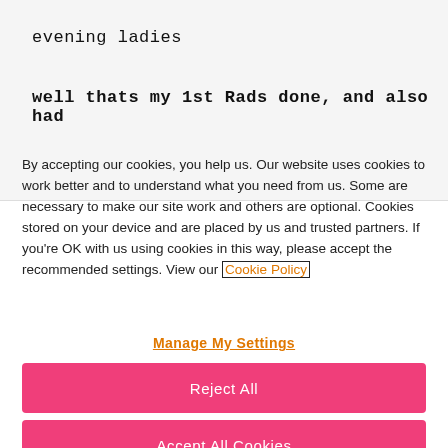evening ladies
well thats my 1st Rads done, and also had
By accepting our cookies, you help us. Our website uses cookies to work better and to understand what you need from us. Some are necessary to make our site work and others are optional. Cookies stored on your device and are placed by us and trusted partners. If you're OK with us using cookies in this way, please accept the recommended settings. View our Cookie Policy
Manage My Settings
Reject All
Accept All Cookies